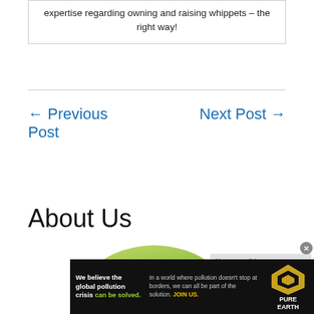expertise regarding owning and raising whippets – the right way!
← Previous Post    Next Post →
About Us
[Figure (photo): Circular cropped photo of a dog (pug-like) on a green grassy background, partially showing face with dark eyes, with an incompatible source message overlay. Below is a Pure Earth advertisement banner.]